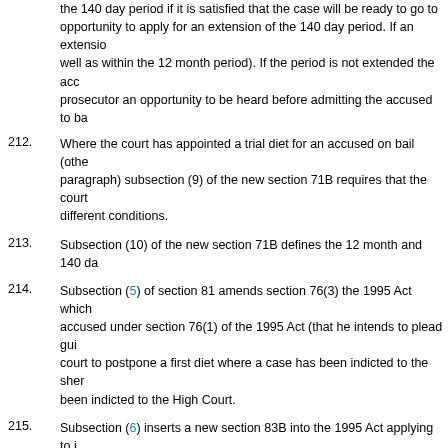the 140 day period if it is satisfied that the case will be ready to go to opportunity to apply for an extension of the 140 day period. If an extension well as within the 12 month period). If the period is not extended the acc prosecutor an opportunity to be heard before admitting the accused to ba
212. Where the court has appointed a trial diet for an accused on bail (othe paragraph) subsection (9) of the new section 71B requires that the court different conditions.
213. Subsection (10) of the new section 71B defines the 12 month and 140 da
214. Subsection (5) of section 81 amends section 76(3) the 1995 Act which accused under section 76(1) of the 1995 Act (that he intends to plead gui court to postpone a first diet where a case has been indicted to the sher been indicted to the High Court.
215. Subsection (6) inserts a new section 83B into the 1995 Act applying to j continued from sitting day to sitting day, up to a maximum number of Adjournal. Failure to commence the trial by the end of the last sitting da end.
Section 82 – Preliminary hearings
216. Section 82 reverses the effect of amendments to section 72A of the 199 amendments, which relate to proceedings in the High Court, were mista (Amendment) (Scotland) Act 2004, and replaced with another section with
Section 83 – Plea of guilty
217. Section 83 repeals that part of section 77(1) of the 1995 Act which require